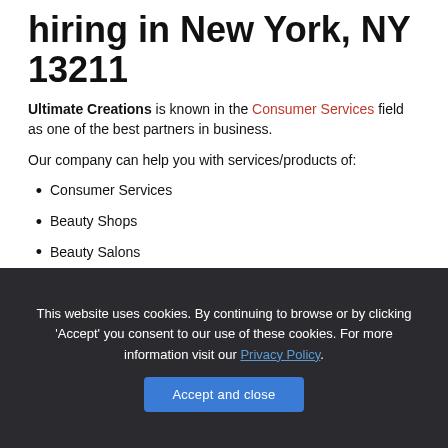hiring in New York, NY 13211
Ultimate Creations is known in the Consumer Services field as one of the best partners in business.
Our company can help you with services/products of:
Consumer Services
Beauty Shops
Beauty Salons
This website uses cookies. By continuing to browse or by clicking 'Accept' you consent to our use of these cookies. For more information visit our Privacy Policy.
Accept and close